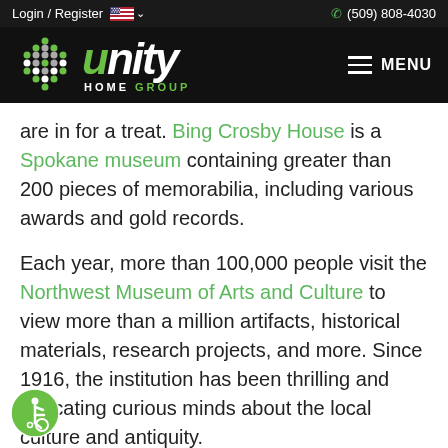Login / Register  (509) 808-4030
[Figure (logo): Unity Home Group logo with dot pattern icon and stylized 'unity HOME GROUP' text on black background, with hamburger MENU icon on the right]
are in for a treat. Bing Crosby House is a Spokane museum containing greater than 200 pieces of memorabilia, including various awards and gold records.
Each year, more than 100,000 people visit the Northwest Museum of Arts and Culture to view more than a million artifacts, historical materials, research projects, and more. Since 1916, the institution has been thrilling and educating curious minds about the local culture and antiquity.